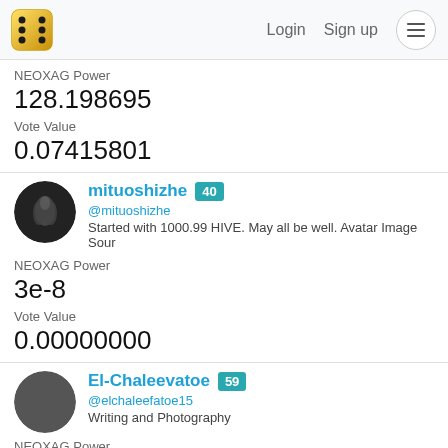Login  Sign up  ☰
NEOXAG Power
128.198695
Vote Value
0.07415801
[Figure (photo): User avatar for mituoshizhe - dark circular image with praying hands]
mituoshizhe [40] @mituoshizhe Started with 1000.99 HIVE. May all be well. Avatar Image Sour
NEOXAG Power
3e-8
Vote Value
0.00000000
[Figure (photo): User avatar for El-Chaleevatoe - dark circular image]
El-Chaleevatoe [59] @elchaleefatoe15 Writing and Photography
NEOXAG Power